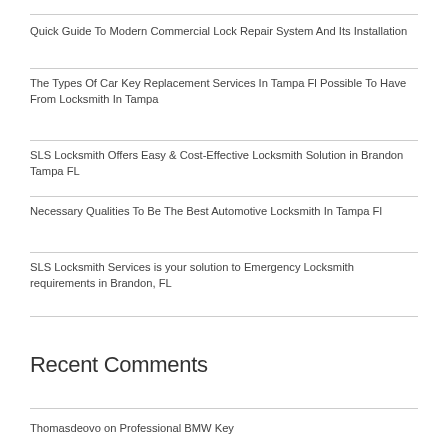Quick Guide To Modern Commercial Lock Repair System And Its Installation
The Types Of Car Key Replacement Services In Tampa Fl Possible To Have From Locksmith In Tampa
SLS Locksmith Offers Easy & Cost-Effective Locksmith Solution in Brandon Tampa FL
Necessary Qualities To Be The Best Automotive Locksmith In Tampa Fl
SLS Locksmith Services is your solution to Emergency Locksmith requirements in Brandon, FL
Recent Comments
Thomasdeovo on Professional BMW Key